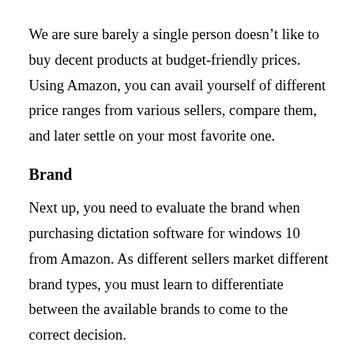We are sure barely a single person doesn't like to buy decent products at budget-friendly prices. Using Amazon, you can avail yourself of different price ranges from various sellers, compare them, and later settle on your most favorite one.
Brand
Next up, you need to evaluate the brand when purchasing dictation software for windows 10 from Amazon. As different sellers market different brand types, you must learn to differentiate between the available brands to come to the correct decision.